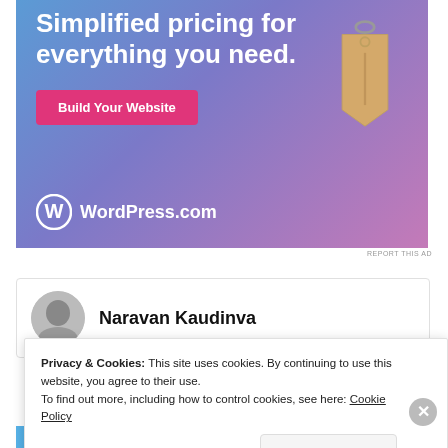[Figure (illustration): WordPress.com advertisement banner with blue-purple gradient background, showing 'Simplified pricing for everything you need.' text, a pink 'Build Your Website' button, a tan/brown price tag hanging from a ring, and the WordPress.com logo at bottom left.]
REPORT THIS AD
Naravan Kaudinva
Privacy & Cookies: This site uses cookies. By continuing to use this website, you agree to their use.
To find out more, including how to control cookies, see here: Cookie Policy
Close and accept